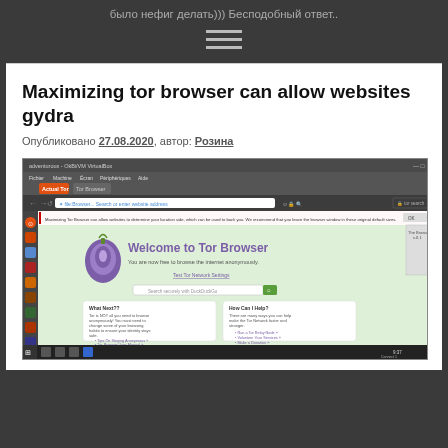было нефиг делать))) Бесподобный ответ..
[Figure (other): Hamburger menu icon with three horizontal lines]
Maximizing tor browser can allow websites gydra
Опубликовано 27.08.2020, автор: Розина
[Figure (screenshot): Screenshot of Tor Browser on Ubuntu Linux showing 'Welcome to Tor Browser' page with search bar and info cards]